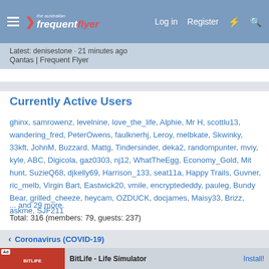the australian frequent flyer — Log in  Register
Latest: denisestone · 21 minutes ago
Qantas | Frequent Flyer
Currently Active Users
ghinx, samrowenz, levelnine, love_the_life, Alphie, Mr H, scottlu13, wandering_fred, PeterOwens, faulknerhj, Leroy, melbkate, Skwinky, 33kft, JohnM, Buzzard, Mattg, Tindersinder, deka2, randompunter, mviy, kyle, ABC, Digicola, gaz0303, nj12, WhatTheEgg, Economy_Gold, Mit hunt, SuzieQ68, djkelly69, Harrison_133, seat11a, Happy Trails, Guvner, ric_melb, Virgin Bart, Eastwick20, vmile, encryptededdy, pauleg, Bundy Bear, grilled_cheeze, heycam, OZDUCK, docjames, Maisy33, Brizz, askme, SJF211
... and 29 more.
Total: 316 (members: 79, guests: 237)
Coronavirus (COVID-19)
[Figure (screenshot): Ad banner: BitLife - Life Simulator with Install button]